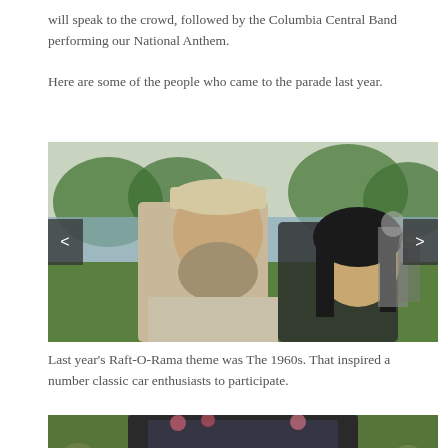will speak to the crowd, followed by the Columbia Central Band performing our National Anthem.
Here are some of the people who came to the parade last year.
[Figure (photo): A man with a beard wearing a Detroit cap and a woman smiling together outdoors near a lake, with other people visible in the background on a green lawn.]
Last year's Raft-O-Rama theme was The 1960s.  That inspired a number classic car enthusiasts to participate.
[Figure (photo): People riding on a decorated vehicle at a parade, outdoors with trees and crowd visible in the background.]